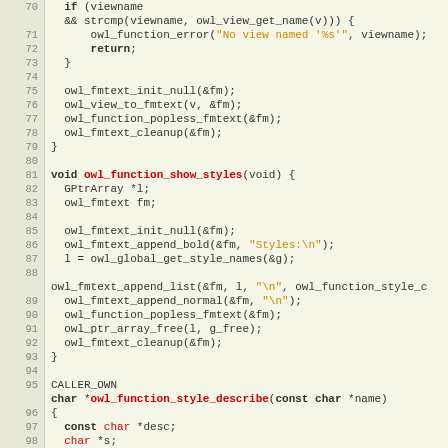[Figure (screenshot): Source code listing in C showing owl function implementations, lines 70-99, with syntax highlighting on a beige background. Functions include owl_function_show_styles and owl_function_style_describe.]